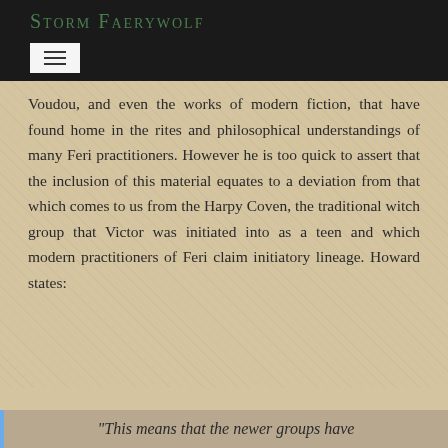Storm Faerywolf
Voudou, and even the works of modern fiction, that have found home in the rites and philosophical understandings of many Feri practitioners. However he is too quick to assert that the inclusion of this material equates to a deviation from that which comes to us from the Harpy Coven, the traditional witch group that Victor was initiated into as a teen and which modern practitioners of Feri claim initiatory lineage. Howard states:
“This means that the newer groups have